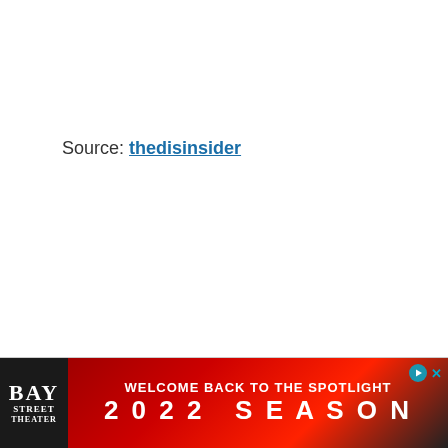Source: thedisinsider
[Figure (other): Advertisement banner for Bay Street Theater: 'WELCOME BACK TO THE SPOTLIGHT 2022 SEASON' with red dramatic background and theater logo on left]